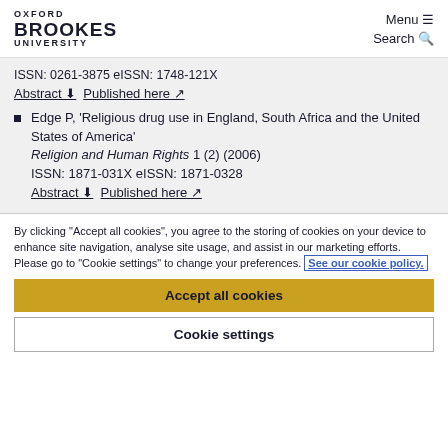OXFORD BROOKES UNIVERSITY  Menu ☰  Search 🔍
ISSN: 0261-3875 eISSN: 1748-121X
Abstract ⬇ Published here ↗
Edge P, 'Religious drug use in England, South Africa and the United States of America' Religion and Human Rights 1 (2) (2006) ISSN: 1871-031X eISSN: 1871-0328 Abstract ⬇ Published here ↗
By clicking "Accept all cookies", you agree to the storing of cookies on your device to enhance site navigation, analyse site usage, and assist in our marketing efforts. Please go to "Cookie settings" to change your preferences. See our cookie policy.
Accept all cookies
Cookie settings